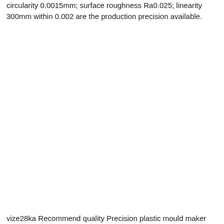circularity 0.0015mm; surface roughness Ra0.025; linearity 300mm within 0.002 are the production precision available.
vize28ka Recommend quality Precision plastic mould maker